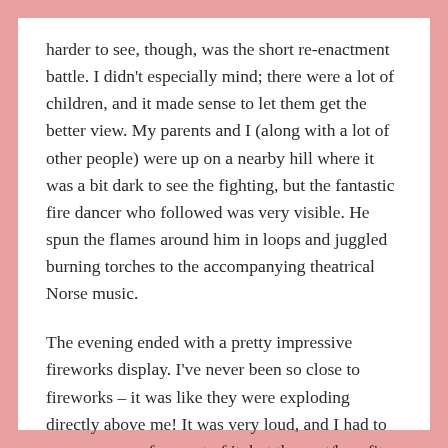harder to see, though, was the short re-enactment battle. I didn't especially mind; there were a lot of children, and it made sense to let them get the better view. My parents and I (along with a lot of other people) were up on a nearby hill where it was a bit dark to see the fighting, but the fantastic fire dancer who followed was very visible. He spun the flames around him in loops and juggled burning torches to the accompanying theatrical Norse music.
The evening ended with a pretty impressive fireworks display. I've never been so close to fireworks – it was like they were exploding directly above me! It was very loud, and I had to cover my ears for most of it, but the cost/benefit of the proximity still ultimately landed on the good side!